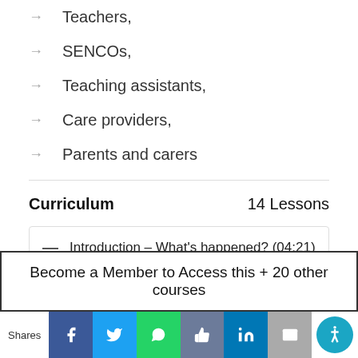Teachers,
SENCOs,
Teaching assistants,
Care providers,
Parents and carers
Curriculum  14 Lessons
Introduction – What's happened? (04:21)
Become a Member to Access this + 20 other courses